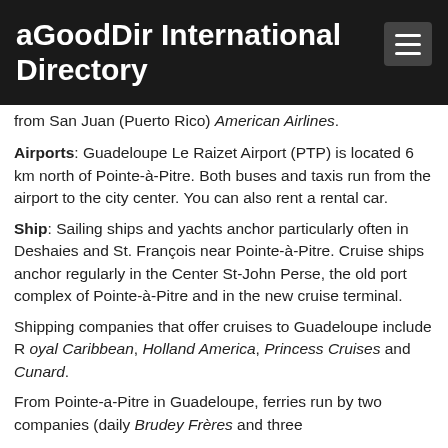aGoodDir International Directory
from San Juan (Puerto Rico) American Airlines.
Airports: Guadeloupe Le Raizet Airport (PTP) is located 6 km north of Pointe-à-Pitre. Both buses and taxis run from the airport to the city center. You can also rent a rental car.
Ship: Sailing ships and yachts anchor particularly often in Deshaies and St. François near Pointe-à-Pitre. Cruise ships anchor regularly in the Center St-John Perse, the old port complex of Pointe-à-Pitre and in the new cruise terminal.
Shipping companies that offer cruises to Guadeloupe include R oyal Caribbean, Holland America, Princess Cruises and Cunard.
From Pointe-a-Pitre in Guadeloupe, ferries run by two companies (daily Brudey Frères and three